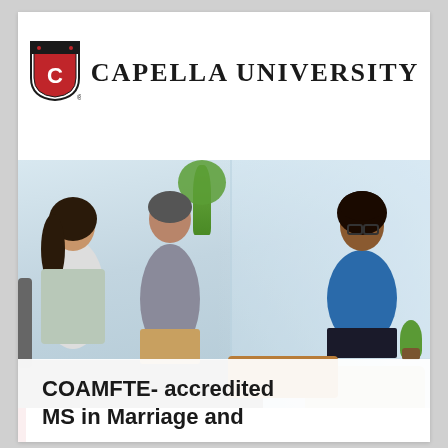[Figure (logo): Capella University logo: shield with C emblem and university name in serif uppercase]
[Figure (photo): A counseling session with a couple seated on a grey sofa and a smiling female therapist in a blue top seated across from them in a bright office setting with large windows and plants]
COAMFTE- accredited MS in Marriage and